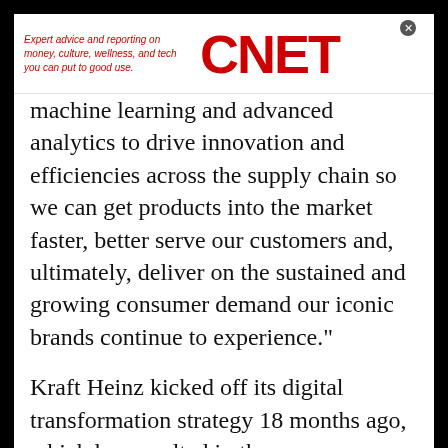[Figure (logo): CNET advertisement banner with tagline 'Expert advice and reporting on money, culture, wellness, and tech you can put to good use.' and red CNET logo]
machine learning and advanced analytics to drive innovation and efficiencies across the supply chain so we can get products into the market faster, better serve our customers and, ultimately, deliver on the sustained and growing consumer demand our iconic brands continue to experience."
Kraft Heinz kicked off its digital transformation strategy 18 months ago, which has resulted in the company adopting agile disciplines and digital solutions across its entire business
"Agile@Scale will build on the efficiency and effectiveness of our transformation to date. We are